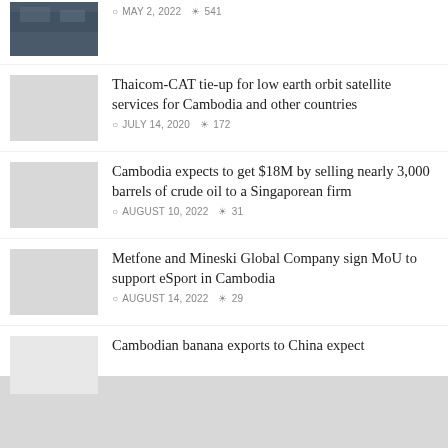[Figure (photo): Partial thumbnail image at top, dark colored photo]
MAY 2, 2022  541
[Figure (photo): Light gray thumbnail placeholder]
Thaicom-CAT tie-up for low earth orbit satellite services for Cambodia and other countries
JULY 14, 2020  172
[Figure (photo): Light gray thumbnail placeholder]
Cambodia expects to get $18M by selling nearly 3,000 barrels of crude oil to a Singaporean firm
AUGUST 10, 2022  31
[Figure (photo): Light gray thumbnail placeholder]
Metfone and Mineski Global Company sign MoU to support eSport in Cambodia
AUGUST 14, 2022  29
[Figure (photo): Light gray thumbnail placeholder]
Cambodian banana exports to China expect